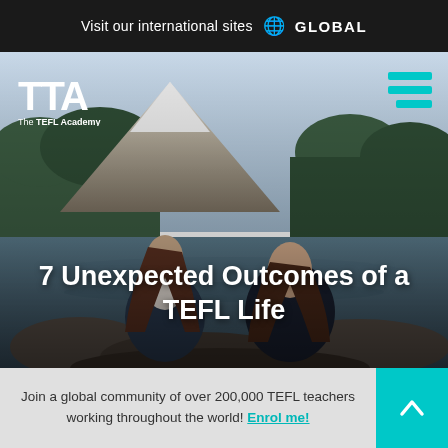Visit our international sites 🌐 GLOBAL
[Figure (photo): Two young women with long hair sitting on rocks by a mountain lake with a snow-capped peak and pine forest in the background. TTA The TEFL Academy logo visible top left, hamburger menu icon top right.]
7 Unexpected Outcomes of a TEFL Life
Join a global community of over 200,000 TEFL teachers working throughout the world! Enrol me!